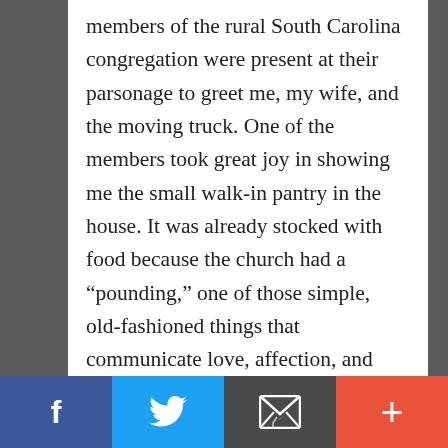members of the rural South Carolina congregation were present at their parsonage to greet me, my wife, and the moving truck. One of the members took great joy in showing me the small walk-in pantry in the house. It was already stocked with food because the church had a “pounding,” one of those simple, old-fashioned things that communicate love, affection, and appreciation of a church for their pastor and his family. I was impressed. Most impressive was the shelf that was sagging under the weight of about one hundred pounds of sugar. Thus, I